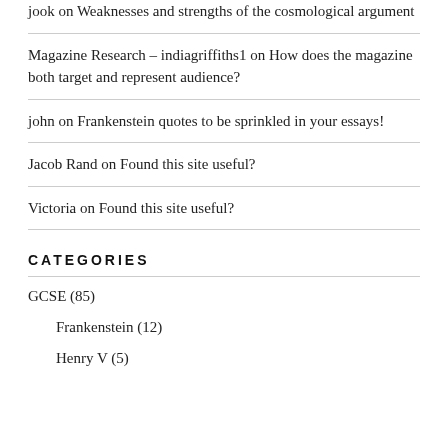jook on Weaknesses and strengths of the cosmological argument
Magazine Research – indiagriffiths1 on How does the magazine both target and represent audience?
john on Frankenstein quotes to be sprinkled in your essays!
Jacob Rand on Found this site useful?
Victoria on Found this site useful?
CATEGORIES
GCSE (85)
Frankenstein (12)
Henry V (5)